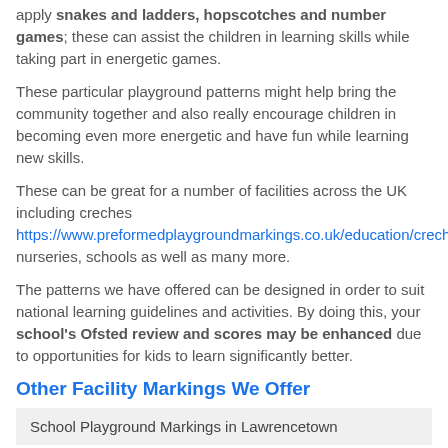apply snakes and ladders, hopscotches and number games; these can assist the children in learning skills while taking part in energetic games.
These particular playground patterns might help bring the community together and also really encourage children in becoming even more energetic and have fun while learning new skills.
These can be great for a number of facilities across the UK including creches https://www.preformedplaygroundmarkings.co.uk/education/creche/ba nurseries, schools as well as many more.
The patterns we have offered can be designed in order to suit national learning guidelines and activities. By doing this, your school's Ofsted review and scores may be enhanced due to opportunities for kids to learn significantly better.
Other Facility Markings We Offer
School Playground Markings in Lawrencetown